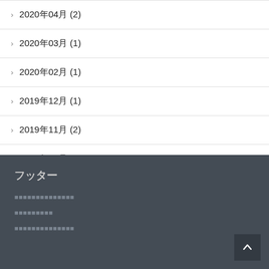2020年04月 (2)
2020年03月 (1)
2020年02月 (1)
2019年12月 (1)
2019年11月 (2)
2019年10月 (1)
フッターテキスト領域
リンクテキスト１（フッター）
リンクテキスト２
リンクテキスト３（フッター）